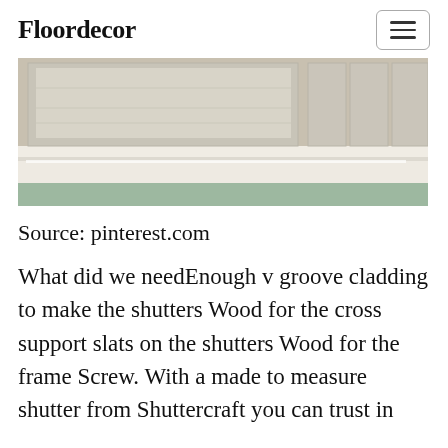Floordecor
[Figure (photo): Partial view of a window with shutters and white molding/trim, showing wooden shutter panels above and a window sill, with a light teal/green wall visible]
Source: pinterest.com
What did we needEnough v groove cladding to make the shutters Wood for the cross support slats on the shutters Wood for the frame Screw. With a made to measure shutter from Shuttercraft you can trust in